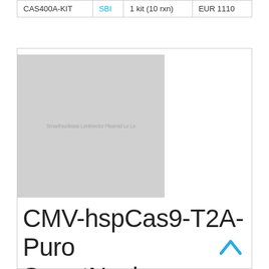| CAS400A-KIT | SBI | 1 kit (10 rxn) | EUR 1110 |
[Figure (photo): Product image placeholder showing a greyed-out thumbnail with faint text 'SmartNuclease Plasmid Lentivector Phend Le...' watermark]
CMV-hspCas9-T2A-Puro SmartNuclease Lentivector Plasmid + LentiStarter Packaging Kit